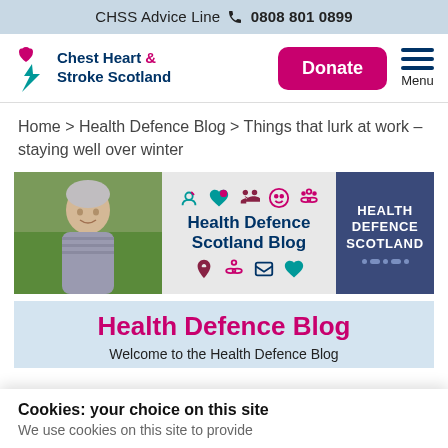CHSS Advice Line 0808 801 0899
[Figure (logo): Chest Heart & Stroke Scotland logo with Donate button and Menu icon]
Home > Health Defence Blog > Things that lurk at work – staying well over winter
[Figure (illustration): Health Defence Scotland Blog banner with photo of elderly person, blog icons and branding]
Health Defence Blog
Welcome to the Health Defence Blog
Cookies: your choice on this site
We use cookies on this site to provide